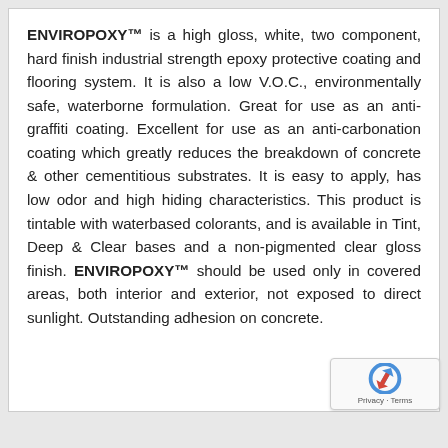ENVIROPOXY™ is a high gloss, white, two component, hard finish industrial strength epoxy protective coating and flooring system. It is also a low V.O.C., environmentally safe, waterborne formulation. Great for use as an anti-graffiti coating. Excellent for use as an anti-carbonation coating which greatly reduces the breakdown of concrete & other cementitious substrates. It is easy to apply, has low odor and high hiding characteristics. This product is tintable with waterbased colorants, and is available in Tint, Deep & Clear bases and a non-pigmented clear gloss finish. ENVIROPOXY™ should be used only in covered areas, both interior and exterior, not exposed to direct sunlight. Outstanding adhesion on concrete.